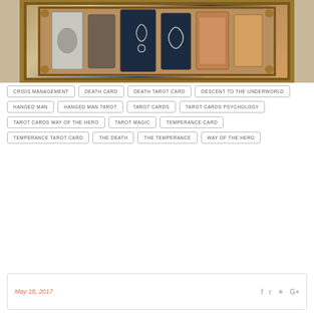[Figure (photo): Collection of tarot card decks displayed in an ornate gilded frame with leaf and scroll decorations. Multiple card boxes visible in dark, silver, copper and wood tones.]
CRISIS MANAGEMENT
DEATH CARD
DEATH TAROT CARD
DESCENT TO THE UNDERWORLD
HANGED MAN
HANGED MAN TAROT
TAROT CARDS
TAROT CARDS PSYCHOLOGY
TAROT CARDS WAY OF THE HERO
TAROT MAGIC
TEMPERANCE CARD
TEMPERANCE TAROT CARD
THE DEATH
THE TEMPERANCE
WAY OF THE HERO
May 15, 2017